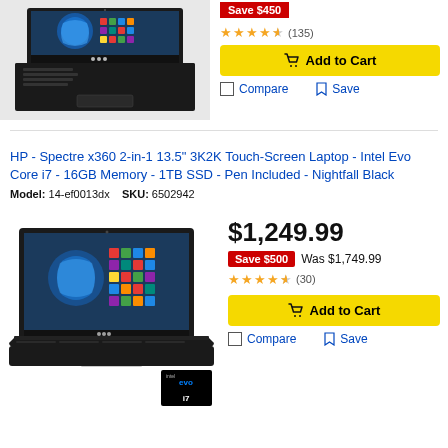[Figure (photo): HP laptop open showing Windows 11 start screen, dark chassis, viewed from above-front angle]
[Figure (other): Save badge (red) shown at top right of first product]
★★★★½ (135)
Add to Cart
Compare   Save
HP - Spectre x360 2-in-1 13.5" 3K2K Touch-Screen Laptop - Intel Evo Core i7 - 16GB Memory - 1TB SSD - Pen Included - Nightfall Black
Model: 14-ef0013dx   SKU: 6502942
[Figure (photo): HP Spectre x360 laptop open showing Windows 11, dark nightfall black chassis, Intel Evo badge visible in lower right corner]
$1,249.99
Save $500  Was $1,749.99
★★★★½ (30)
Add to Cart
Compare   Save